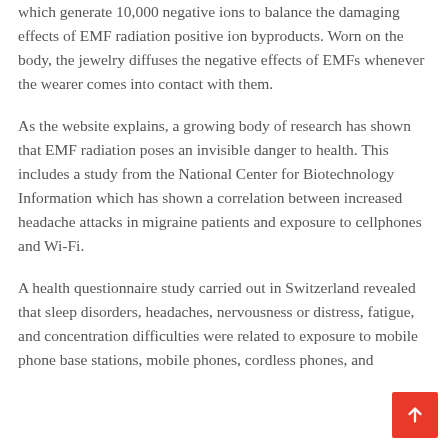which generate 10,000 negative ions to balance the damaging effects of EMF radiation positive ion byproducts. Worn on the body, the jewelry diffuses the negative effects of EMFs whenever the wearer comes into contact with them.
As the website explains, a growing body of research has shown that EMF radiation poses an invisible danger to health. This includes a study from the National Center for Biotechnology Information which has shown a correlation between increased headache attacks in migraine patients and exposure to cellphones and Wi-Fi.
A health questionnaire study carried out in Switzerland revealed that sleep disorders, headaches, nervousness or distress, fatigue, and concentration difficulties were related to exposure to mobile phone base stations, mobile phones, cordless phones, and